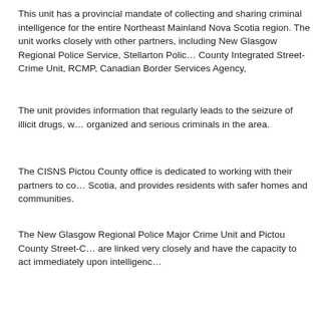This unit has a provincial mandate of collecting and sharing criminal intelligence for the entire Northeast Mainland Nova Scotia region. The unit works closely with other partners, including New Glasgow Regional Police Service, Stellarton Police, Pictou County Integrated Street-Crime Unit, RCMP, Canadian Border Services Agency,
The unit provides information that regularly leads to the seizure of illicit drugs, weapons, and organized and serious criminals in the area.
The CISNS Pictou County office is dedicated to working with their partners to continue to make Nova Scotia, and provides residents with safer homes and communities.
The New Glasgow Regional Police Major Crime Unit and Pictou County Street-Crime Unit are linked very closely and have the capacity to act immediately upon intelligence,